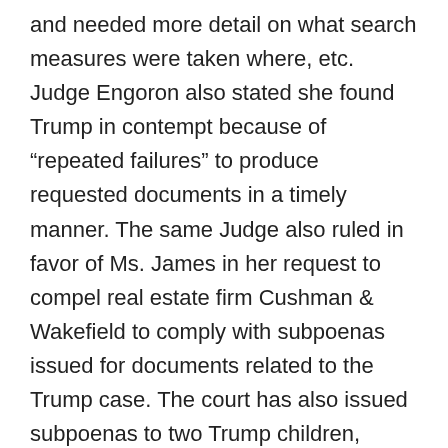and needed more detail on what search measures were taken where, etc. Judge Engoron also stated she found Trump in contempt because of “repeated failures” to produce requested documents in a timely manner. The same Judge also ruled in favor of Ms. James in her request to compel real estate firm Cushman & Wakefield to comply with subpoenas issued for documents related to the Trump case. The court has also issued subpoenas to two Trump children, Ivanka and Donald Jr., who are appealing the requested testimony. Judge Engoron was sending a clear message that he did not appreciate Trump wasting the court’s time, and said “I know you take your business seriously, and I take mine seriously,” right before finding him in contempt.
Attorney General James’s Office has said there are